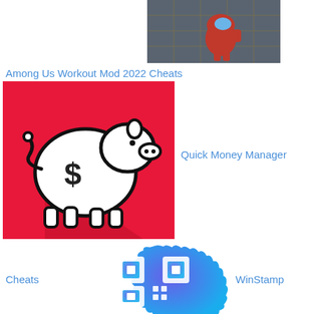[Figure (screenshot): Screenshot of Among Us game showing red character on grid floor]
Among Us Workout Mod 2022 Cheats
[Figure (illustration): Red background app icon with white piggy bank and dollar sign]
Quick Money Manager
Cheats
[Figure (illustration): Blue gradient badge/stamp app icon with QR code pattern]
WinStamp